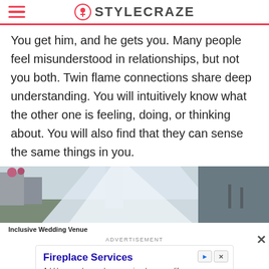STYLECRAZE
You get him, and he gets you. Many people feel misunderstood in relationships, but not you both. Twin flame connections share deep understanding. You will intuitively know what the other one is feeling, doing, or thinking about. You will also find that they can sense the same things in you.
[Figure (photo): Wedding photo showing a bride in a white gown with a long veil, outdoors.]
Inclusive Wedding Venue
ADVERTISEMENT
[Figure (infographic): Advertisement for Fireplace Services by LT Rush Stone & Fireplace. Title: Fireplace Services. Tagline: Add home value, make memories, love your life. Button: Open.]